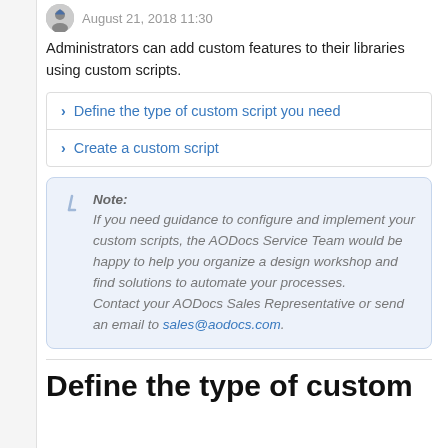August 21, 2018 11:30
Administrators can add custom features to their libraries using custom scripts.
Define the type of custom script you need
Create a custom script
Note: If you need guidance to configure and implement your custom scripts, the AODocs Service Team would be happy to help you organize a design workshop and find solutions to automate your processes. Contact your AODocs Sales Representative or send an email to sales@aodocs.com.
Define the type of custom